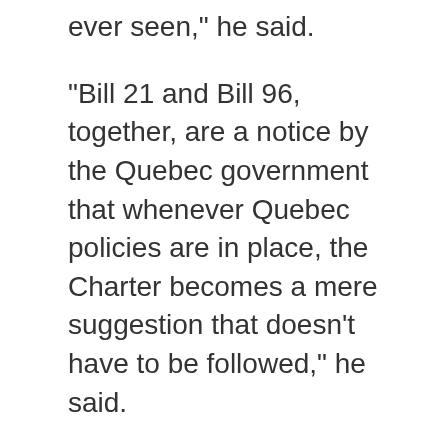ever seen," he said.
“Bill 21 and Bill 96, together, are a notice by the Quebec government that whenever Quebec policies are in place, the Charter becomes a mere suggestion that doesn’t have to be followed,” he said.
“And so the use of the notwithstanding clause makes this a really important battle to be fought.”
LISTEN ON CJAD 800: A prominent group of Montreal lawyers is mounting a legal offensive against Bill 96